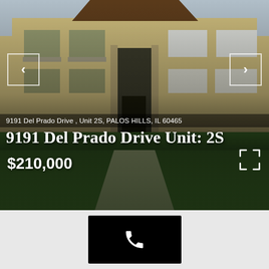[Figure (photo): Exterior photo of a multi-story brick condominium building with balconies, brown roof, green lawn, and a central front entrance walkway. Navigation left/right arrows visible on sides.]
9191 Del Prado Drive , Unit 2S, PALOS HILLS, IL 60465
9191 Del Prado Drive Unit: 2S
$210,000
[Figure (other): Black button with white phone/call icon]